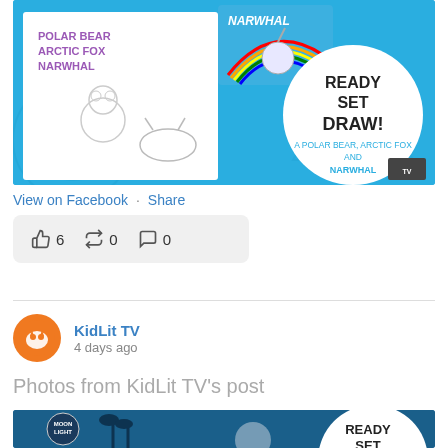[Figure (screenshot): KidLit TV Facebook post image showing 'Ready Set Draw! A Polar Bear, Arctic Fox and Narwhal' with cartoon drawings on a blue background]
View on Facebook · Share
👍 6   ↪ 0   💬 0
KidLit TV
4 days ago
Photos from KidLit TV's post
[Figure (screenshot): Partial view of another KidLit TV post showing 'Ready Set' on blue background with moon/night scene imagery]